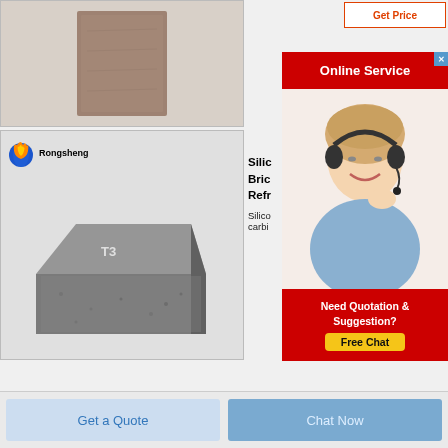[Figure (photo): Top product image: a flat brown/tan rectangular tile or board material]
[Figure (screenshot): Get Price button with orange/red border and text]
[Figure (screenshot): Online Service red banner with X close button]
[Figure (photo): Headset customer service lady smiling]
[Figure (logo): Rongsheng logo: flame/globe icon with text Rongsheng]
[Figure (photo): Second product image: gray silicon carbide brick labeled T3 on white background with Rongsheng logo]
Silicon Carbide Brick Refractory
Silicon carbide
[Figure (screenshot): Need Quotation & Suggestion? Free Chat box in red with yellow button]
Get a Quote
Chat Now